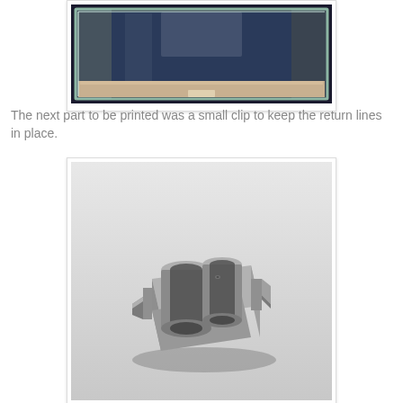[Figure (photo): A clear glass aquarium tank viewed from the front, showing transparent glass panels, a sandy/light colored bottom, and dark background inside. The tank appears empty and is sitting on a surface.]
The next part to be printed was a small clip to keep the return lines in place.
[Figure (engineering-diagram): A 3D CAD rendering of a small gray plastic clip component. The clip has two cylindrical tube holders side by side and clip hooks on the sides, designed to hold return lines in place. The render is shown on a light gray gradient background.]